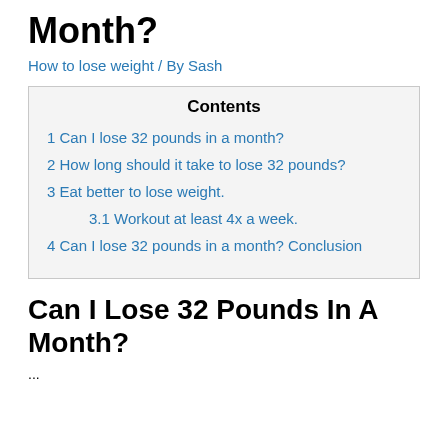Month?
How to lose weight / By Sash
| Contents |
| --- |
| 1 Can I lose 32 pounds in a month? |
| 2 How long should it take to lose 32 pounds? |
| 3 Eat better to lose weight. |
| 3.1 Workout at least 4x a week. |
| 4 Can I lose 32 pounds in a month? Conclusion |
Can I Lose 32 Pounds In A Month?
...